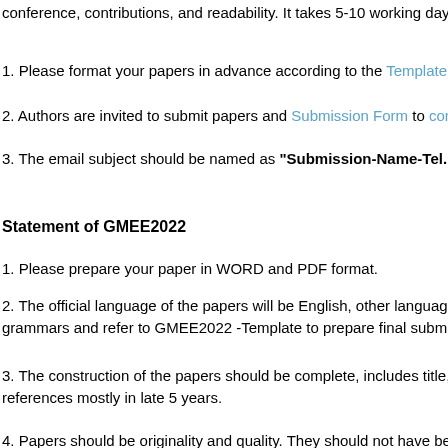conference, contributions, and readability. It takes 5-10 working days for
1. Please format your papers in advance according to the Template.
2. Authors are invited to submit papers and Submission Form to conf@7
3. The email subject should be named as "Submission-Name-Tel. Num
Statement of GMEE2022
1. Please prepare your paper in WORD and PDF format.
2. The official language of the papers will be English, other languages grammars and refer to GMEE2022 -Template to prepare final submission
3. The construction of the papers should be complete, includes title, a references mostly in late 5 years.
4. Papers should be originality and quality. They should not have been p
5. All submissions will be peer-reviewed by at least 2 reviewers.
6. Each paper should be at least 4 pages. The suggested length of the p